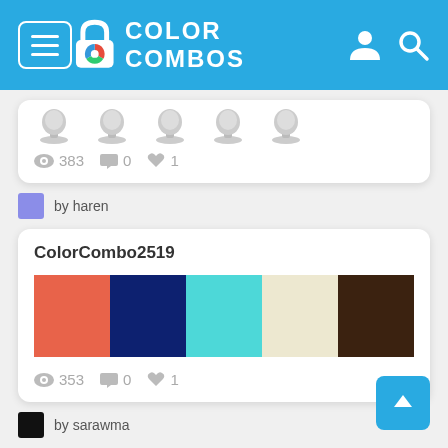COLOR COMBOS
[Figure (screenshot): Partial color combo card with 5 trophy/pedestal icons, views: 383, comments: 0, likes: 1]
by haren
ColorCombo2519
[Figure (infographic): 5 color swatches: coral/red-orange, dark navy blue, turquoise/cyan, cream/beige, dark brown]
353  0  1
by sarawma